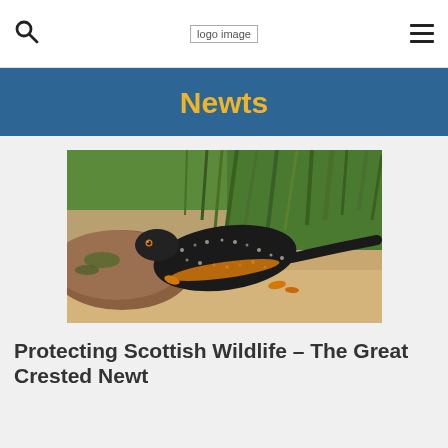logo image
Newts
[Figure (photo): Close-up photograph of a Great Crested Newt on a rock, showing dark bumpy skin with white spots and orange feet, with green grass in the background]
Protecting Scottish Wildlife – The Great Crested Newt